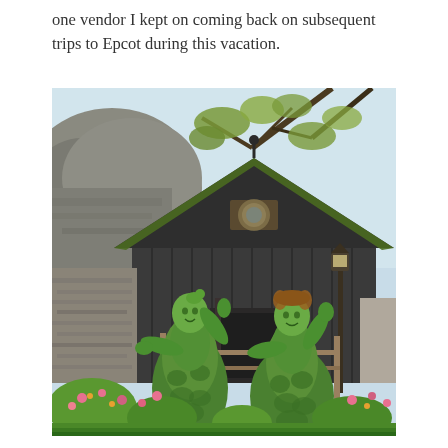one vendor I kept on coming back on subsequent trips to Epcot during this vacation.
[Figure (photo): Outdoor photo at Epcot showing two topiary sculptures of Frozen characters Elsa and Anna made from green leafy plants, posed in front of a dark wooden Norwegian-style building with a grass-covered pitched roof. Rocky cliffs and tree branches are visible in the background. Pink and yellow flowers are planted around the base of the topiaries. A gas-style lamp post stands to the right.]